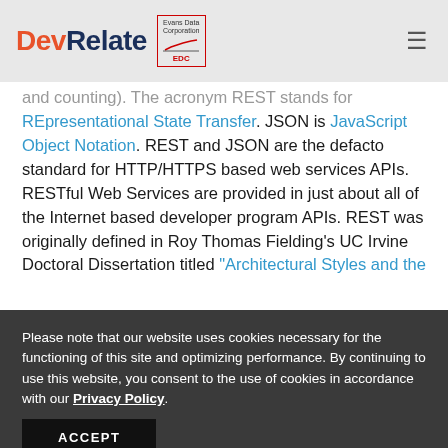DevRelate | Evans Data Corporation EDC
and counting). The acronym REST stands for REpresentational State Transfer. JSON is JavaScript Object Notation. REST and JSON are the defacto standard for HTTP/HTTPS based web services APIs. RESTful Web Services are provided in just about all of the Internet based developer program APIs. REST was originally defined in Roy Thomas Fielding's UC Irvine Doctoral Dissertation titled "Architectural Styles and the
Please note that our website uses cookies necessary for the functioning of this site and optimizing performance. By continuing to use this website, you consent to the use of cookies in accordance with our Privacy Policy.